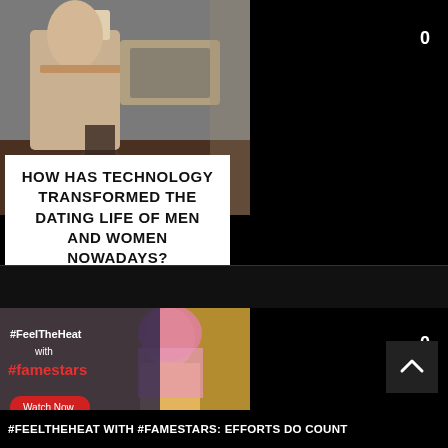[Figure (photo): People sitting at a table with laptops and drinks, technology/dating theme]
HOW HAS TECHNOLOGY TRANSFORMED THE DATING LIFE OF MEN AND WOMEN NOWADAYS?
0
[Figure (photo): #FeelTheHeat with #famestars Watch Now banner with woman in pink headscarf]
0
#FEELTHEHEAT WITH #FAMESTARS: EFFORTS DO COUNT